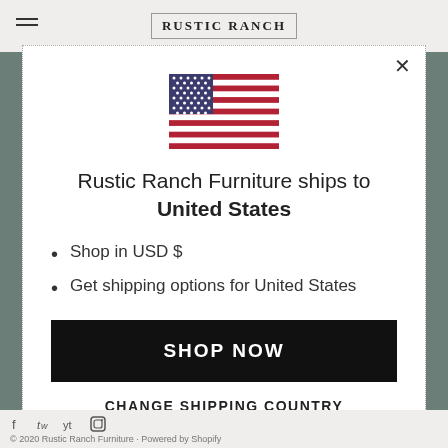RUSTIC RANCH
[Figure (illustration): US flag SVG illustration]
Rustic Ranch Furniture ships to United States
Shop in USD $
Get shipping options for United States
SHOP NOW
CHANGE SHIPPING COUNTRY
© 2020 Rustic Ranch Furniture · Powered by Shopify